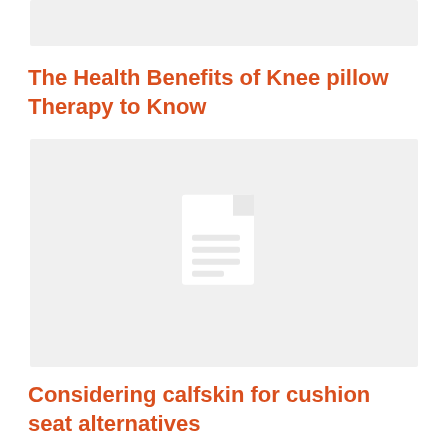[Figure (illustration): Grey placeholder image at top (partial, cropped)]
The Health Benefits of Knee pillow Therapy to Know
[Figure (illustration): Grey placeholder image with a white document/file icon in the center]
Considering calfskin for cushion seat alternatives